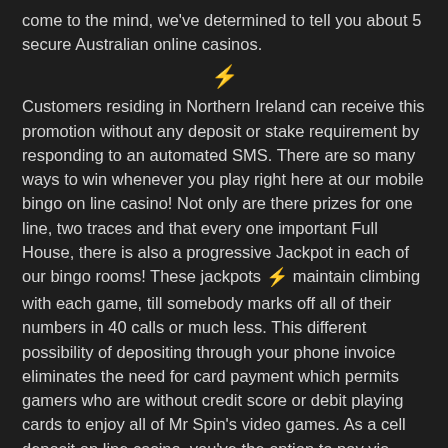come to the mind, we've determined to tell you about 5 secure Australian online casinos.
[Figure (illustration): Small golden lightning bolt / running figure icon centered between paragraphs]
Customers residing in Northern Ireland can receive this promotion without any deposit or stake requirement by responding to an automated SMS. There are so many ways to win whenever you play right here at our mobile bingo on line casino! Not only are there prizes for one line, two traces and that every one important Full House, there is also a progressive Jackpot in each of our bingo rooms! These jackpots maintain climbing with each game, till somebody marks off all of their numbers in 40 calls or much less. This different possibility of depositing through your phone invoice eliminates the need for card payment which permits gamers who are without credit score or debit playing cards to enjoy all of Mr Spin's video games. As a cell deposit on line casino, you've the option to pay via phone invoice. Whether you've a month-to-month contract or pay-as-you-go, you should use this residue technique to high up your Mr Spin account.
While you won't be impressed by the casino's internet design, its performance is what most gamblers come here for. You can scroll